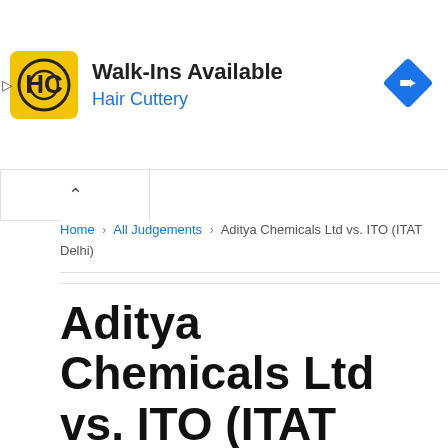[Figure (infographic): Hair Cuttery advertisement banner with yellow HC logo, text 'Walk-Ins Available' and 'Hair Cuttery' in blue, and a blue navigation diamond icon on the right]
Home › All Judgements › Aditya Chemicals Ltd vs. ITO (ITAT Delhi)
Aditya Chemicals Ltd vs. ITO (ITAT Delhi)